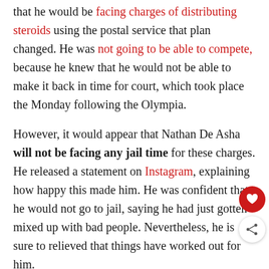that he would be facing charges of distributing steroids using the postal service that plan changed. He was not going to be able to compete, because he knew that he would not be able to make it back in time for court, which took place the Monday following the Olympia.
However, it would appear that Nathan De Asha will not be facing any jail time for these charges. He released a statement on Instagram, explaining how happy this made him. He was confident that he would not go to jail, saying he had just gotten mixed up with bad people. Nevertheless, he is sure to relieved that things have worked out for him.
This is his statement: